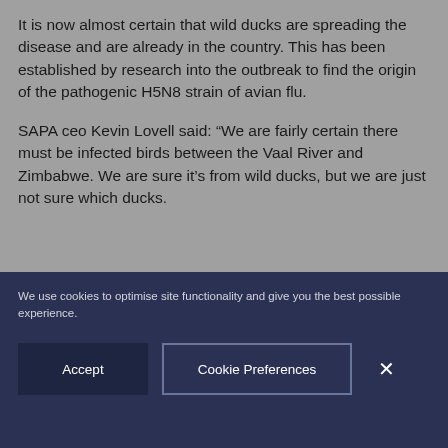It is now almost certain that wild ducks are spreading the disease and are already in the country. This has been established by research into the outbreak to find the origin of the pathogenic H5N8 strain of avian flu.
SAPA ceo Kevin Lovell said: “We are fairly certain there must be infected birds between the Vaal River and Zimbabwe. We are sure it’s from wild ducks, but we are just not sure which ducks.
We use cookies to optimise site functionality and give you the best possible experience.